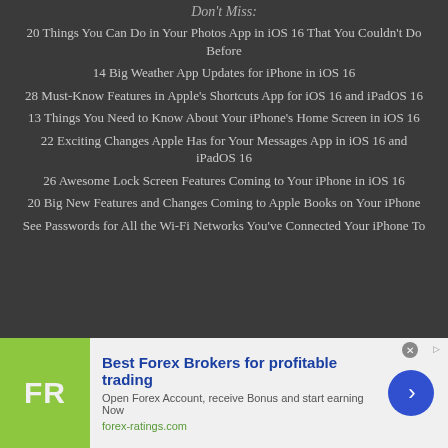Don't Miss:
20 Things You Can Do in Your Photos App in iOS 16 That You Couldn't Do Before
14 Big Weather App Updates for iPhone in iOS 16
28 Must-Know Features in Apple's Shortcuts App for iOS 16 and iPadOS 16
13 Things You Need to Know About Your iPhone's Home Screen in iOS 16
22 Exciting Changes Apple Has for Your Messages App in iOS 16 and iPadOS 16
26 Awesome Lock Screen Features Coming to Your iPhone in iOS 16
20 Big New Features and Changes Coming to Apple Books on Your iPhone
See Passwords for All the Wi-Fi Networks You've Connected Your iPhone To
[Figure (infographic): Advertisement banner for Best Forex Brokers featuring the FR logo on olive/green background, blue bold title 'Best Forex Brokers for profitable trading', subtitle 'Open Forex Account, receive Bonus and start earning Now', URL 'forex-ratings.com', and a blue circular arrow button.]